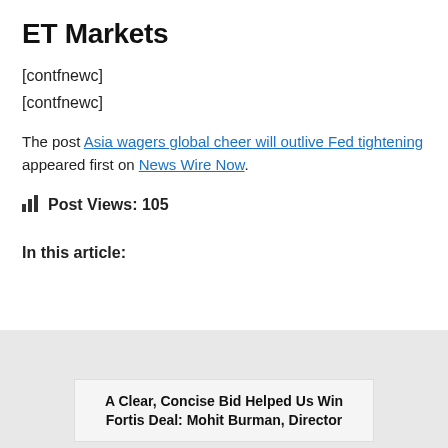ET Markets
[contfnewc]
[contfnewc]
The post Asia wagers global cheer will outlive Fed tightening appeared first on News Wire Now.
Post Views: 105
In this article:
A Clear, Concise Bid Helped Us Win Fortis Deal: Mohit Burman, Director